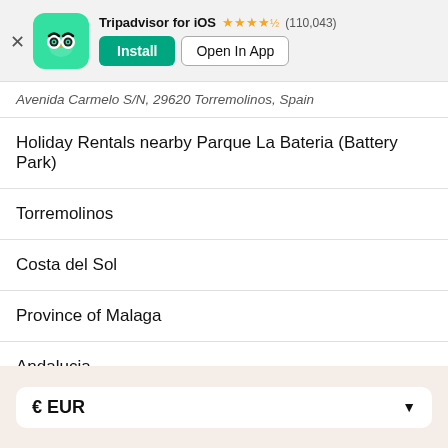[Figure (screenshot): Tripadvisor app install banner with owl logo icon, app name 'Tripadvisor for iOS', 4.5 star rating (110,043 reviews), Install and Open In App buttons]
Avenida Carmelo S/N, 29620 Torremolinos, Spain
Holiday Rentals nearby Parque La Bateria (Battery Park)
Torremolinos
Costa del Sol
Province of Malaga
Andalucia
Spain
Europe
Holiday Rentals
€ EUR